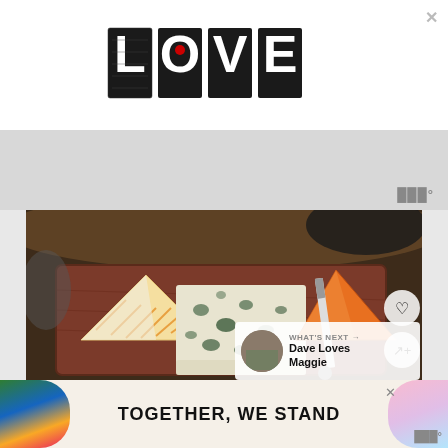[Figure (logo): LOVE logo/advertisement banner with decorative illustrated letters at top of page, with X close button]
[Figure (photo): Photograph of three types of cheese on a wooden cutting board: a soft cheese with orange rind (left), a blue cheese (center), and a bright orange hard cheese (right), with a knife visible]
WHAT'S NEXT → Dave Loves Maggie
[Figure (infographic): Bottom advertisement banner reading TOGETHER, WE STAND with colorful illustrated elements on the sides and X close button]